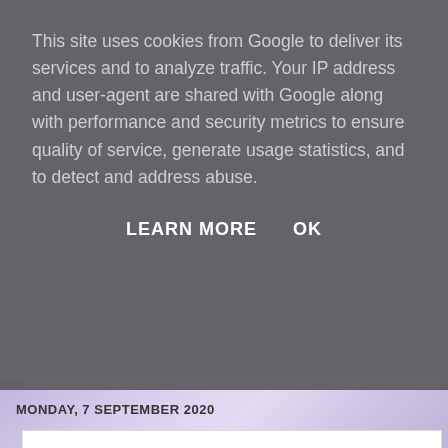This site uses cookies from Google to deliver its services and to analyze traffic. Your IP address and user-agent are shared with Google along with performance and security metrics to ensure quality of service, generate usage statistics, and to detect and address abuse.
LEARN MORE   OK
MONDAY, 7 SEPTEMBER 2020
Blood Bowl - Nurgle Team Bloater
Afternoon #warmongers and #warhammercommunity I've been #paintingwarhammer Nurgle Blood Bowl Bloater. Now that I've 2019/20 TO DONE! pics - new content! So this is the only thing progress whilst I've had no mojo. I'd been holding out on the La primary project but couldn't pick up a paintbrush to progress. H muddle on with this a bit and again my pics are all over the plac